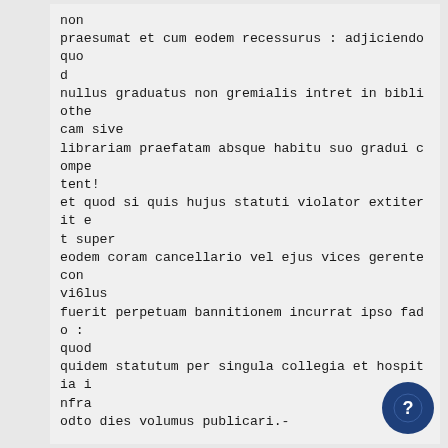non
praesumat et cum eodem recessurus : adjiciendo quod
nullus graduatus non gremialis intret in bibliothecam sive
librariam praefatam absque habitu suo gradui competent!
et quod si quis hujus statuti violator extiterit et super
eodem coram cancellario vel ejus vices gerente convi6lus
fuerit perpetuam bannitionem incurrat ipso fado : quod
quidem statutum per singula collegia et hospitia infra
odto dies volumus publicari.-
This is referred to in the following entry :
Item deliberatum M. Hanson pro vino dato presidenti
et dodloribus in edificatione statuti pro ingrnti-